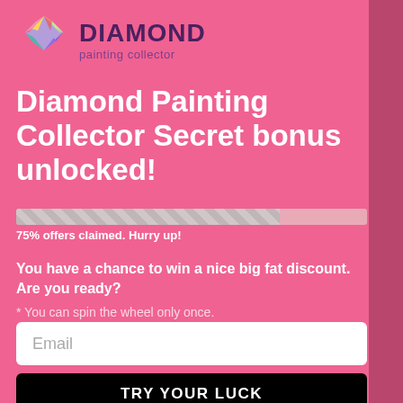[Figure (logo): Diamond Painting Collector logo with geometric multi-colored diamond shape and text 'DIAMOND painting collector']
Diamond Painting Collector Secret bonus unlocked!
[Figure (infographic): Progress bar showing 75% filled with hatched pattern]
75% offers claimed. Hurry up!
You have a chance to win a nice big fat discount. Are you ready?
* You can spin the wheel only once.
Email
TRY YOUR LUCK